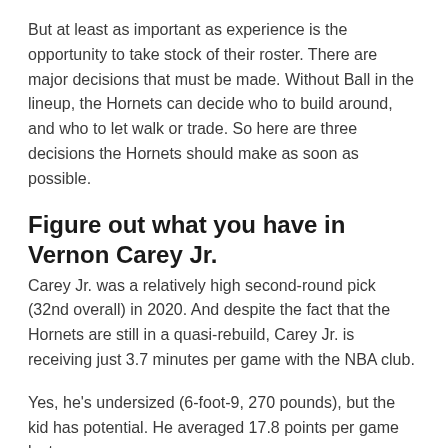But at least as important as experience is the opportunity to take stock of their roster. There are major decisions that must be made. Without Ball in the lineup, the Hornets can decide who to build around, and who to let walk or trade. So here are three decisions the Hornets should make as soon as possible.
Figure out what you have in Vernon Carey Jr.
Carey Jr. was a relatively high second-round pick (32nd overall) in 2020. And despite the fact that the Hornets are still in a quasi-rebuild, Carey Jr. is receiving just 3.7 minutes per game with the NBA club.
Yes, he's undersized (6-foot-9, 270 pounds), but the kid has potential. He averaged 17.8 points per game last